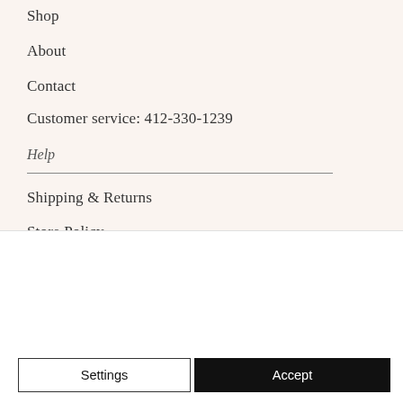Shop
About
Contact
Customer service: 412-330-1239
Help
Shipping & Returns
Store Policy
Payment Methods
We use cookies on our website to see how you interact with it. By accepting, you agree to our use of such cookies. Privacy Policy
Settings
Accept